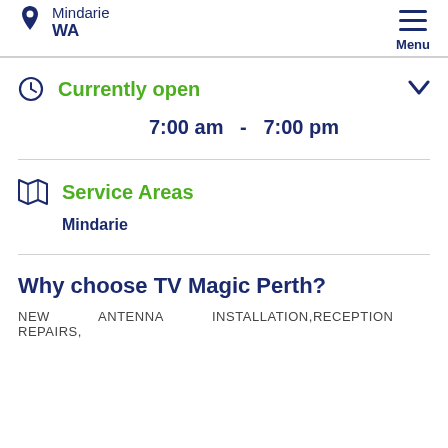Mindarie WA — Menu
Currently open — 7:00 am - 7:00 pm
Service Areas
Mindarie
Why choose TV Magic Perth?
NEW ANTENNA INSTALLATION,RECEPTION REPAIRS,